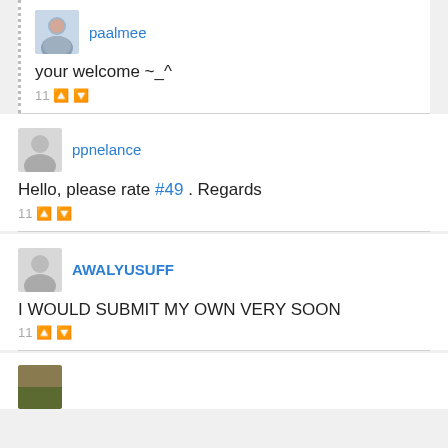paalmee — your welcome ~_^  11
ppnelance — Hello, please rate #49 . Regards  11
AWALYUSUFF — I WOULD SUBMIT MY OWN VERY SOON  11